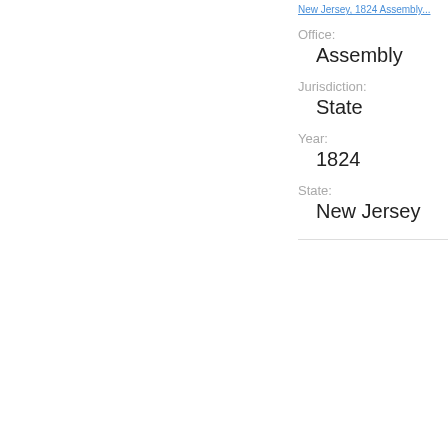New Jersey, 1824 Assembly...
Office:
Assembly
Jurisdiction:
State
Year:
1824
State:
New Jersey